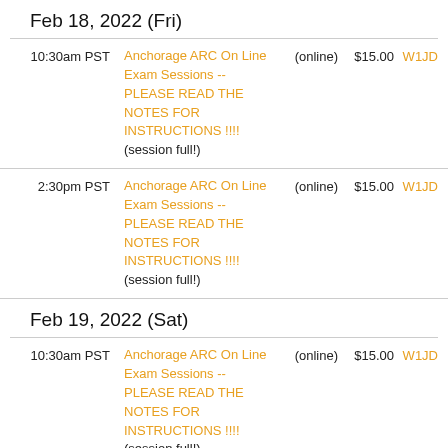Feb 18, 2022 (Fri)
| Time | Name | Location | Fee | VEC |
| --- | --- | --- | --- | --- |
| 10:30am PST | Anchorage ARC On Line Exam Sessions -- PLEASE READ THE NOTES FOR INSTRUCTIONS !!!! (session full!) | (online) | $15.00 | W1JD |
| 2:30pm PST | Anchorage ARC On Line Exam Sessions -- PLEASE READ THE NOTES FOR INSTRUCTIONS !!!! (session full!) | (online) | $15.00 | W1JD |
Feb 19, 2022 (Sat)
| Time | Name | Location | Fee | VEC |
| --- | --- | --- | --- | --- |
| 10:30am PST | Anchorage ARC On Line Exam Sessions -- PLEASE READ THE NOTES FOR INSTRUCTIONS !!!! (session full!) | (online) | $15.00 | W1JD |
| 2:30pm PST | Anchorage ARC On Line Exam Sessions ... | (online) | $15.00 | W1JD |